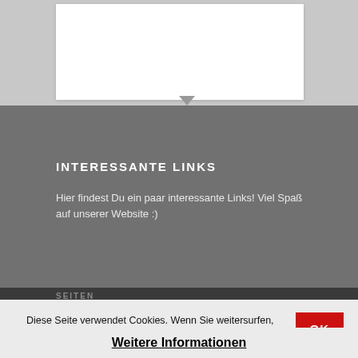[Figure (screenshot): Top gray background section with a white content card and a downward scroll arrow indicator]
INTERESSANTE LINKS
Hier findest Du ein paar interessante Links! Viel Spaß auf unserer Website :)
Diese Seite verwendet Cookies. Wenn Sie weitersurfen, gehen wir davon aus, dass Sie damit einverstanden sind.
OK
Weitere Informationen